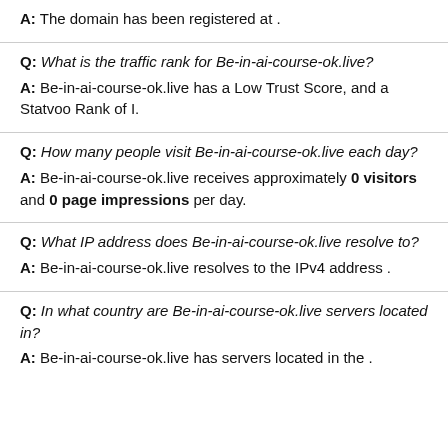A: The domain has been registered at .
Q: What is the traffic rank for Be-in-ai-course-ok.live?
A: Be-in-ai-course-ok.live has a Low Trust Score, and a Statvoo Rank of I.
Q: How many people visit Be-in-ai-course-ok.live each day?
A: Be-in-ai-course-ok.live receives approximately 0 visitors and 0 page impressions per day.
Q: What IP address does Be-in-ai-course-ok.live resolve to?
A: Be-in-ai-course-ok.live resolves to the IPv4 address .
Q: In what country are Be-in-ai-course-ok.live servers located in?
A: Be-in-ai-course-ok.live has servers located in the .